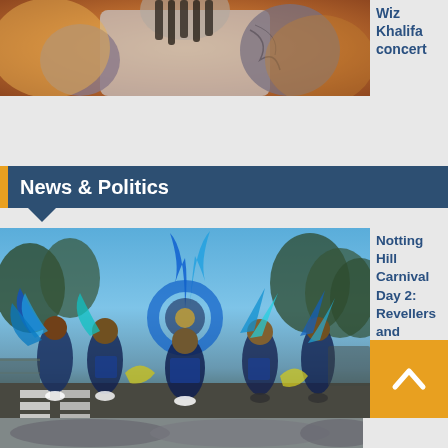[Figure (photo): Wiz Khalifa performing at a concert, close-up, tattoos visible, warm orange stage lighting]
Wiz Khalifa concert
News & Politics
[Figure (photo): Notting Hill Carnival Day 2 performers in colorful blue, teal and yellow feathered costumes walking on a zebra crossing street]
Notting Hill Carnival Day 2: Revellers and performers head out in flamboy s